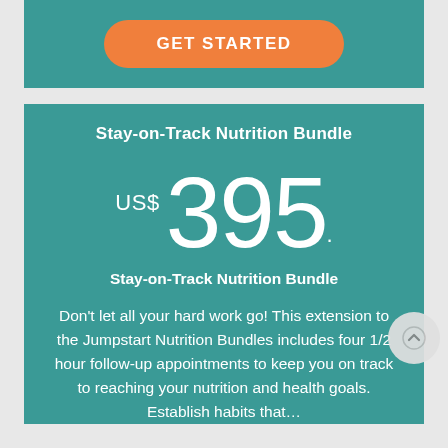[Figure (other): Orange 'GET STARTED' button on teal background]
Stay-on-Track Nutrition Bundle
US$ 395.
Stay-on-Track Nutrition Bundle
Don't let all your hard work go! This extension to the Jumpstart Nutrition Bundles includes four 1/2 hour follow-up appointments to keep you on track to reaching your nutrition and health goals. Establish habits that…